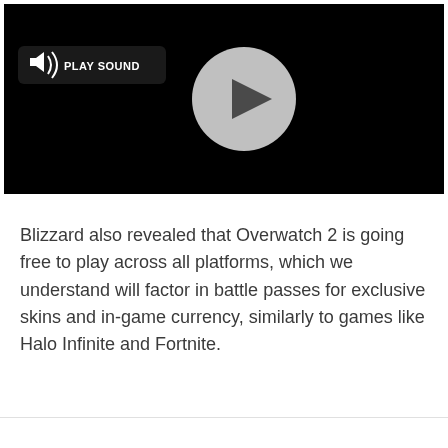[Figure (screenshot): Video player screenshot with black background, a 'PLAY SOUND' button with speaker icon in the upper left, and a circular play button in the center.]
Blizzard also revealed that Overwatch 2 is going free to play across all platforms, which we understand will factor in battle passes for exclusive skins and in-game currency, similarly to games like Halo Infinite and Fortnite.